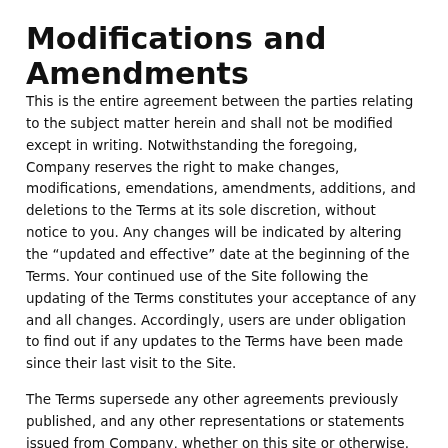Modifications and Amendments
This is the entire agreement between the parties relating to the subject matter herein and shall not be modified except in writing. Notwithstanding the foregoing, Company reserves the right to make changes, modifications, emendations, amendments, additions, and deletions to the Terms at its sole discretion, without notice to you. Any changes will be indicated by altering the “updated and effective” date at the beginning of the Terms. Your continued use of the Site following the updating of the Terms constitutes your acceptance of any and all changes. Accordingly, users are under obligation to find out if any updates to the Terms have been made since their last visit to the Site.
The Terms supersede any other agreements previously published, and any other representations or statements issued from Company, whether on this site or otherwise. Company...